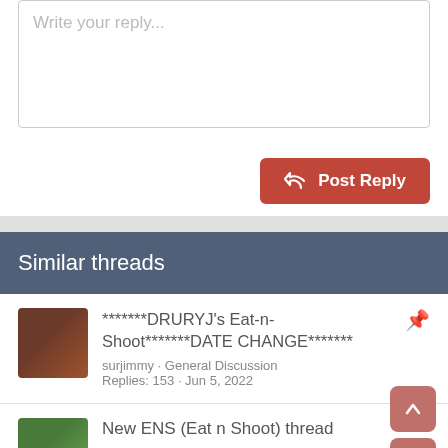Write your reply...
Post Reply
Similar threads
*******DRURYJ's Eat-n-Shoot*******DATE CHANGE******* surjimmy · General Discussion Replies: 153 · Jun 5, 2022
New ENS (Eat n Shoot) thread clintbailey · Gun Club/Range Talk Replies: 47 · Jul 27, 2021
Eat N Shoot get together, Big Boys gun range, 8/14/21 @ 0900